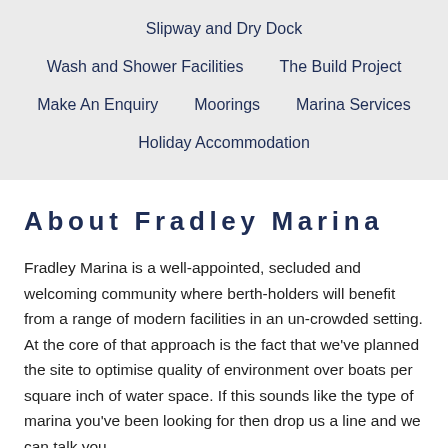Slipway and Dry Dock
Wash and Shower Facilities
The Build Project
Make An Enquiry
Moorings
Marina Services
Holiday Accommodation
About Fradley Marina
Fradley Marina is a well-appointed, secluded and welcoming community where berth-holders will benefit from a range of modern facilities in an un-crowded setting. At the core of that approach is the fact that we've planned the site to optimise quality of environment over boats per square inch of water space.  If this sounds like the type of marina you've been looking for then drop us a line and we can talk you